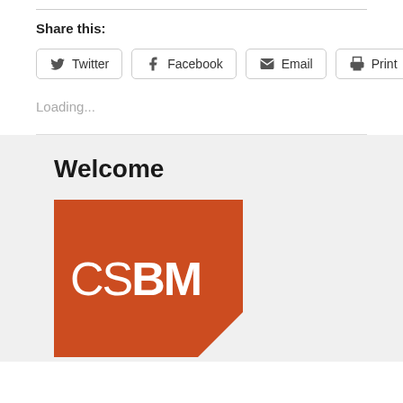Share this:
Twitter | Facebook | Email | Print
Loading...
Welcome
[Figure (logo): CSBM logo — orange/red square background with white text 'CS' (regular weight) and 'BM' (bold), with a white triangle corner cutout at bottom-right]